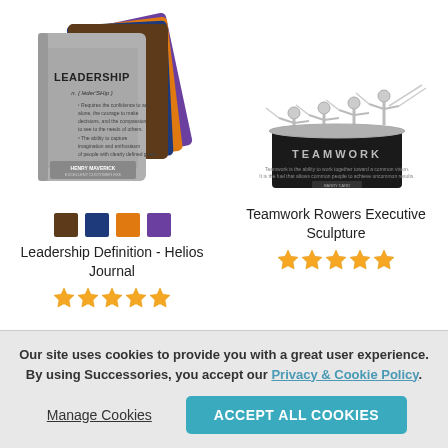[Figure (photo): Stack of Leadership Definition Helios Journals in multiple colors (gray, brown, blue, orange, purple) fanned out]
[Figure (photo): Teamwork Rowers Executive Sculpture - metal rowers on a black base with TEAMWORK inscription]
Leadership Definition - Helios Journal
[Figure (other): Five star rating icons in orange for Leadership Definition - Helios Journal]
Teamwork Rowers Executive Sculpture
[Figure (other): Five star rating icons in orange for Teamwork Rowers Executive Sculpture]
Our site uses cookies to provide you with a great user experience. By using Successories, you accept our Privacy & Cookie Policy.
Manage Cookies
ACCEPT ALL COOKIES